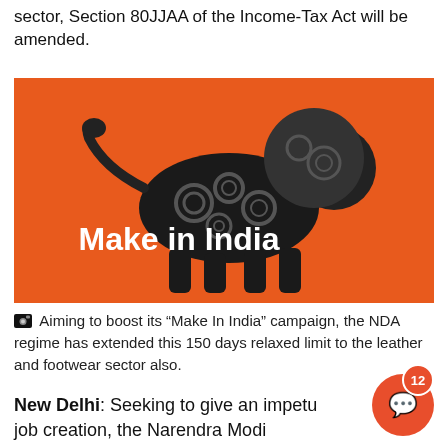sector, Section 80JJAA of the Income-Tax Act will be amended.
[Figure (illustration): Make in India logo — a mechanical lion made of gears on an orange background with 'Make in India' text in white]
Aiming to boost its "Make In India" campaign, the NDA regime has extended this 150 days relaxed limit to the leather and footwear sector also.
New Delhi: Seeking to give an impetu job creation, the Narendra Modi